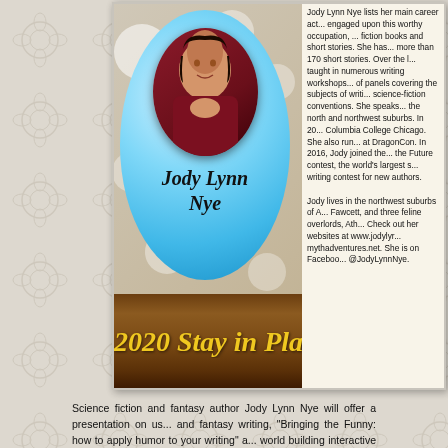[Figure (photo): Author profile card for Jody Lynn Nye featuring a circular photo of the author in a blue bubble on a bokeh background, with her name in script, and a brown banner reading '2020 Stay in Place Virtual Writing']
Jody Lynn Nye lists her main career activity as 'spoiling cats.' She has been engaged upon this worthy occupation, while writing science fiction and fantasy fiction books and short stories. She has published over 50 books and more than 170 short stories. Over the last few years, Jody has taught in numerous writing workshops and participated in hundreds of panels covering the subjects of writing and being published at science-fiction conventions. She speaks at libraries and schools in the north and northwest suburbs. In 2019, she joined the staff of Columbia College Chicago. She also runs the writers' workshop at DragonCon. In 2016, Jody joined the jury for Writers of the Future contest, the world's largest science fiction and fantasy writing contest for new authors. Jody lives in the northwest suburbs of A... with her husband Bill Fawcett, and three feline overlords, Ath... Check out her websites at www.jodylyr... mythadventures.net. She is on Faceboo... @JodyLynnNye.
2020 Stay in Place Virtual Writing
Science fiction and fantasy author Jody Lynn Nye will offer a presentation on us... and fantasy writing, "Bringing the Funny: how to apply humor to your writing" a... world building interactive panel discussion.
[Figure (photo): Bottom preview card showing another author with blue bubble and bokeh background, with partial text: 'Writer's Digest award-w... Raine is a voracious Book...']